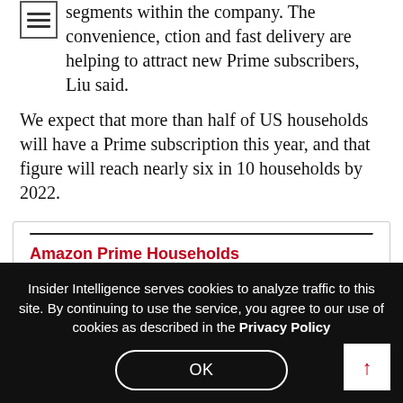segments within the company. The convenience, ction and fast delivery are helping to attract new Prime subscribers, Liu said.
We expect that more than half of US households will have a Prime subscription this year, and that figure will reach nearly six in 10 households by 2022.
[Figure (bar-chart): Partially visible bar chart showing Amazon Prime Households data for US 2018-2022. Numbers 71.4 and 76.6 partially visible at bottom.]
Insider Intelligence serves cookies to analyze traffic to this site. By continuing to use the service, you agree to our use of cookies as described in the Privacy Policy
OK